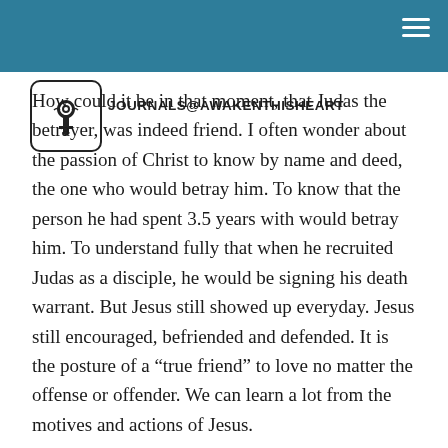JOURNALS@AWAKENTHISHEART
How could it be in that moment, that Judas the betrayer, was indeed friend. I often wonder about the passion of Christ to know by name and deed, the one who would betray him. To know that the person he had spent 3.5 years with would betray him. To understand fully that when he recruited Judas as a disciple, he would be signing his death warrant. But Jesus still showed up everyday. Jesus still encouraged, befriended and defended. It is the posture of a “true friend” to love no matter the offense or offender. We can learn a lot from the motives and actions of Jesus.
Loving our enemies DOESN’T mean that there aren’t real issues going on or that the problem is fixed and swept under the proverbial rug. It means that we move forward, walk in forgiveness, and ultimately turn them